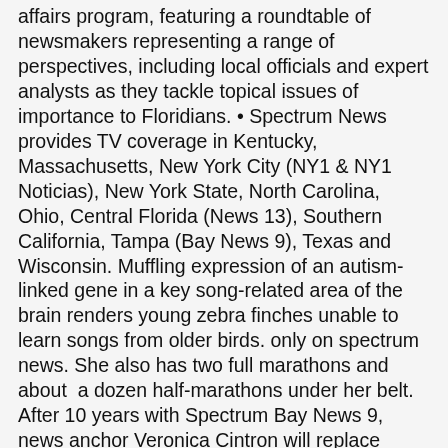affairs program, featuring a roundtable of newsmakers representing a range of perspectives, including local officials and expert analysts as they tackle topical issues of importance to Floridians. • Spectrum News provides TV coverage in Kentucky, Massachusetts, New York City (NY1 & NY1 Noticias), New York State, North Carolina, Ohio, Central Florida (News 13), Southern California, Tampa (Bay News 9), Texas and Wisconsin. Muffling expression of an autism-linked gene in a key song-related area of the brain renders young zebra finches unable to learn songs from older birds. only on spectrum news. She also has two full marathons and about  a dozen half-marathons under her belt. After 10 years with Spectrum Bay News 9, news anchor Veronica Cintron will replace retiring Janet Scherberger as Tampa International Airport's vice … This information will be updated as soon as it is available. This is what you need to know about Fallon Silcox, an American general assignment reporter currently working for Spectrum News 9 News since 2013. 24/7 Access to Local Coverage. SHARE. Your latest local forecast every 10 minutes for you on Weather Forecast